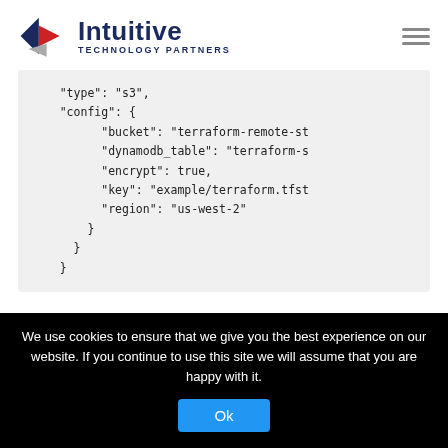Intuitive Technology Partners
[Figure (screenshot): Code block showing JSON/HCL terraform backend configuration with type s3, config fields: bucket terraform-remote-st..., dynamodb_table terraform-s..., encrypt true, key example/terraform.tfst..., region us-west-2]
If you already have a local statefile you will probably want to push it up to S3.
We use cookies to ensure that we give you the best experience on our website. If you continue to use this site we will assume that you are happy with it.